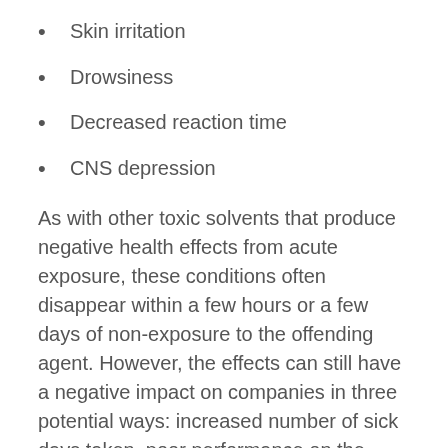Skin irritation
Drowsiness
Decreased reaction time
CNS depression
As with other toxic solvents that produce negative health effects from acute exposure, these conditions often disappear within a few hours or a few days of non-exposure to the offending agent. However, the effects can still have a negative impact on companies in three potential ways: increased number of sick days taken, poor performance on the workfloor, and physical injuries due to drowsiness and decreased reaction time.